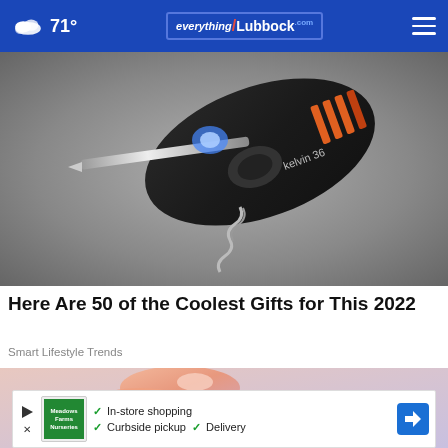71° | everything Lubbock .com
[Figure (photo): Close-up photo of a Kelvin 36 multi-tool with screwdriver bits, corkscrew, and built-in LED light against a gray background]
Here Are 50 of the Coolest Gifts for This 2022
Smart Lifestyle Trends
[Figure (photo): Close-up photo of a person's fingers, partially visible at the bottom of the page]
✓ In-store shopping ✓ Curbside pickup ✓ Delivery